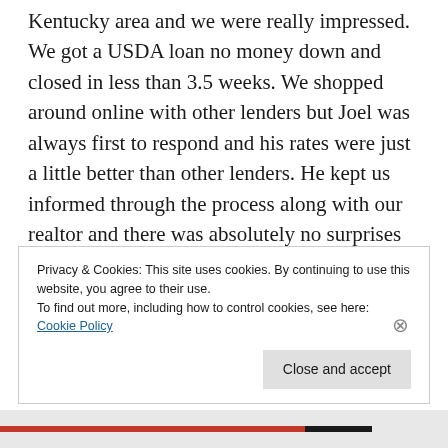Kentucky area and we were really impressed. We got a USDA loan no money down and closed in less than 3.5 weeks. We shopped around online with other lenders but Joel was always first to respond and his rates were just a little better than other lenders. He kept us informed through the process along with our realtor and there was absolutely no surprises like we heard from other co-workers and friends that they experienced in their loan process. We have
Privacy & Cookies: This site uses cookies. By continuing to use this website, you agree to their use.
To find out more, including how to control cookies, see here: Cookie Policy
Close and accept